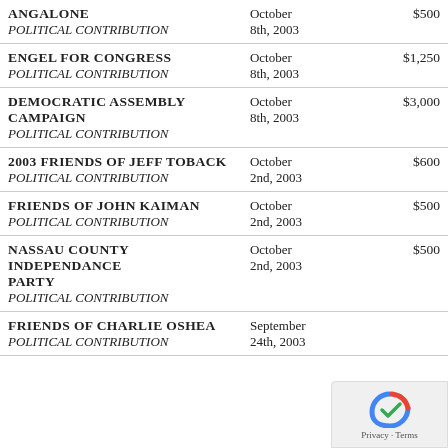| Name / Type | Date | Amount |
| --- | --- | --- |
| ANGALONE
POLITICAL CONTRIBUTION | October 8th, 2003 | $500 |
| ENGEL FOR CONGRESS
POLITICAL CONTRIBUTION | October 8th, 2003 | $1,250 |
| DEMOCRATIC ASSEMBLY CAMPAIGN
POLITICAL CONTRIBUTION | October 8th, 2003 | $3,000 |
| 2003 FRIENDS OF JEFF TOBACK
POLITICAL CONTRIBUTION | October 2nd, 2003 | $600 |
| FRIENDS OF JOHN KAIMAN
POLITICAL CONTRIBUTION | October 2nd, 2003 | $500 |
| NASSAU COUNTY INDEPENDANCE PARTY
POLITICAL CONTRIBUTION | October 2nd, 2003 | $500 |
| FRIENDS OF CHARLIE OSHEA
POLITICAL CONTRIBUTION | September 24th, 2003 |  |